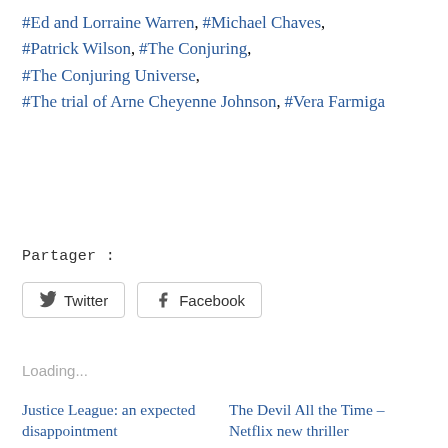#Ed and Lorraine Warren, #Michael Chaves, #Patrick Wilson, #The Conjuring, #The Conjuring Universe, #The trial of Arne Cheyenne Johnson, #Vera Farmiga
Partager :
[Figure (screenshot): Twitter share button]
[Figure (screenshot): Facebook share button]
Loading...
Justice League: an expected disappointment
8 January 2018
In "2018"
The Devil All the Time – Netflix new thriller
26 September 2020
In "2020"